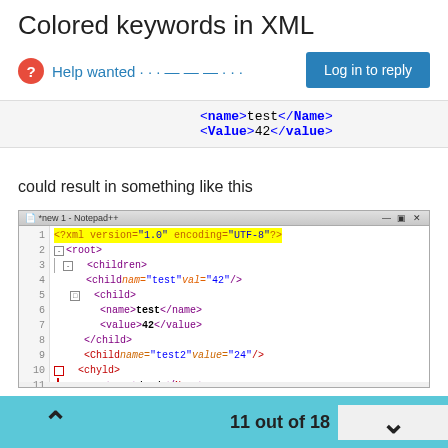Colored keywords in XML
Help wanted · · · — — — · · ·
[Figure (screenshot): Code snippet showing XML with <name>test</Name> and <Value>42</value> tags on a light gray background]
could result in something like this
[Figure (screenshot): Notepad++ editor window showing XML code with syntax highlighting. Line 1: <?xml version="1.0" encoding="UTF-8"?> highlighted in yellow. Lines 2-15 show XML structure with <root>, <children>, <child>, <name>, <value>, </child>, <Child name="test2" value="24"/>, <chyld>, </chyld>, </children>, </root> tags in purple/magenta. Line 12 <Value>42</value> is highlighted in blue/purple. Line 10 has red bookmark square.]
11 out of 18